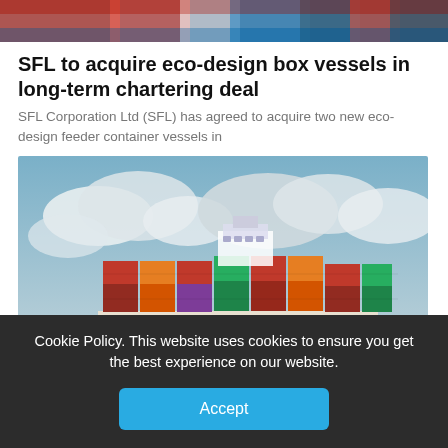[Figure (photo): Top banner image with colorful flags or maritime imagery in red, white, and blue tones]
SFL to acquire eco-design box vessels in long-term chartering deal
SFL Corporation Ltd (SFL) has agreed to acquire two new eco-design feeder container vessels in
[Figure (photo): A large Maersk Line container ship with colorful stacked shipping containers, sailing on calm water under a cloudy sky, with a breakwater visible in the foreground]
Cookie Policy. This website uses cookies to ensure you get the best experience on our website.